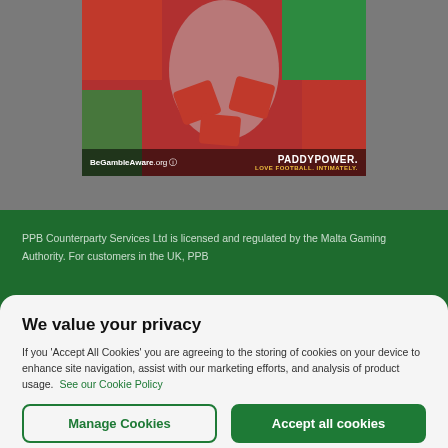[Figure (photo): Paddy Power advertisement showing a person with red puzzle pieces, BeGambleAware.org logo and 'PADDYPOWER. LOVE FOOTBALL. INTIMATELY.' text at the bottom]
PPB Counterparty Services Ltd is licensed and regulated by the Malta Gaming Authority. For customers in the UK, PPB
We value your privacy
If you 'Accept All Cookies' you are agreeing to the storing of cookies on your device to enhance site navigation, assist with our marketing efforts, and analysis of product usage.  See our Cookie Policy
Manage Cookies
Accept all cookies